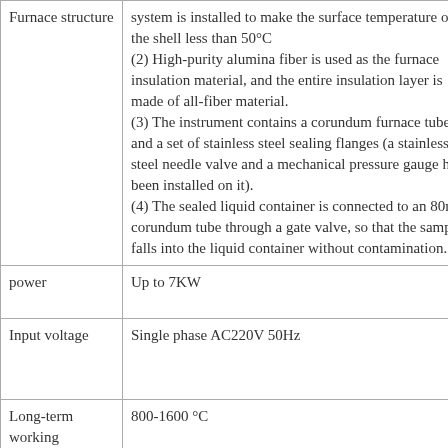| Property | Description |
| --- | --- |
| Furnace structure | (1) [cooling system] system is installed to make the surface temperature of the shell less than 50°C
(2) High-purity alumina fiber is used as the furnace insulation material, and the entire insulation layer is made of all-fiber material.
(3) The instrument contains a corundum furnace tube and a set of stainless steel sealing flanges (a stainless steel needle valve and a mechanical pressure gauge have been installed on it).
(4) The sealed liquid container is connected to an 80mm corundum tube through a gate valve, so that the sample falls into the liquid container without contamination. |
| power | Up to 7KW |
| Input voltage | Single phase AC220V 50Hz |
| Long-term working temperatu | 800-1600 °C |